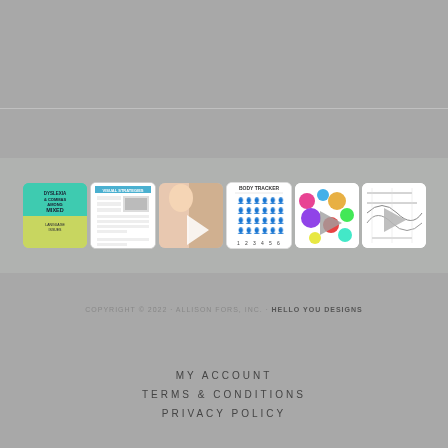[Figure (illustration): A horizontal strip of six social media / content thumbnails. From left to right: (1) teal and yellow card about dyslexia; (2) white document/worksheet image; (3) photo of a child with a play button overlay; (4) white body tracker chart; (5) colorful bubble/circle graphic with play button; (6) line drawing with play button overlay.]
COPYRIGHT © 2022 · ALLISON FORS, INC. · HELLO YOU DESIGNS
MY ACCOUNT
TERMS & CONDITIONS
PRIVACY POLICY